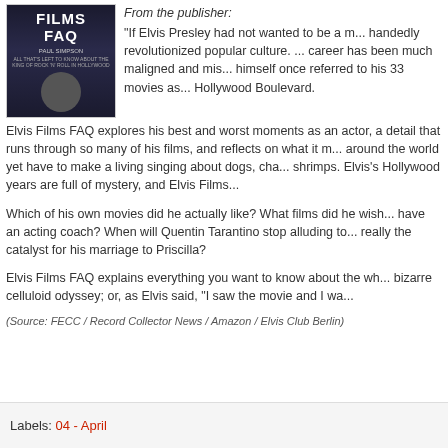[Figure (illustration): Book cover of 'Elvis Films FAQ' by Paul Simpson, dark background with figure silhouette]
From the publisher: "If Elvis Presley had not wanted to be a m... handedly revolutionized popular culture. ... career has been much maligned and mis... himself once referred to his 33 movies as... Hollywood Boulevard.
Elvis Films FAQ explores his best and worst moments as an actor, a detail that runs through so many of his films, and reflects on what it m... around the world yet have to make a living singing about dogs, cha... shrimps. Elvis's Hollywood years are full of mystery, and Elvis Films...
Which of his own movies did he actually like? What films did he wish... have an acting coach? When will Quentin Tarantino stop alluding to... really the catalyst for his marriage to Priscilla?
Elvis Films FAQ explains everything you want to know about the wh... bizarre celluloid odyssey; or, as Elvis said, "I saw the movie and I wa...
(Source: FECC / Record Collector News / Amazon / Elvis Club Berlin)
Labels: 04 - April